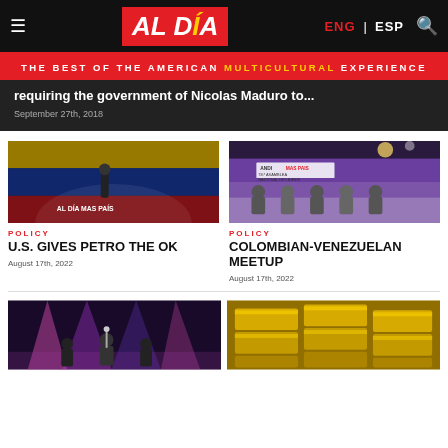AL DÍA | ENG | ESP
THE BEST OF THE AMERICAN MULTICULTURAL EXPERIENCE
requiring the government of Nicolas Maduro to...
September 27th, 2018
[Figure (photo): Person on stage in front of large Colombian flag backdrop with event text]
POLICY
U.S. GIVES PETRO THE OK
August 17th, 2022
[Figure (photo): Panel of officials at ANDI MAS PAIS assembly conference table]
POLICY
COLOMBIAN-VENEZUELAN MEETUP
August 17th, 2022
[Figure (photo): Concert scene with pink/purple stage lights and performers]
[Figure (photo): Gold bars stacked together]